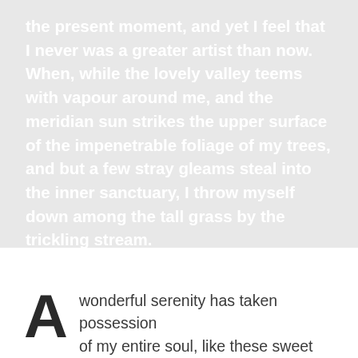the present moment, and yet I feel that I never was a greater artist than now. When, while the lovely valley teems with vapour around me, and the meridian sun strikes the upper surface of the impenetrable foliage of my trees, and but a few stray gleams steal into the inner sanctuary, I throw myself down among the tall grass by the trickling stream.
A wonderful serenity has taken possession of my entire soul, like these sweet mornings of spring which I enjoy with...